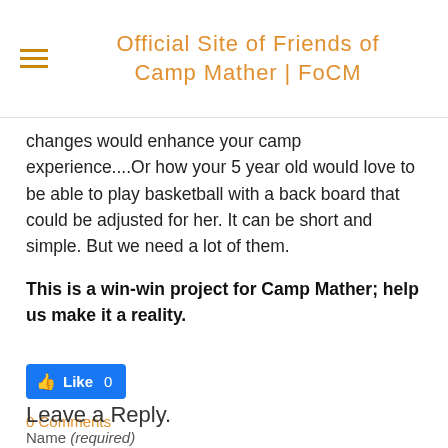Official Site of Friends of Camp Mather | FoCM
changes would enhance your camp experience....Or how your 5 year old would love to be able to play basketball with a back board that could be adjusted for her. It can be short and simple. But we need a lot of them.
This is a win-win project for Camp Mather; help us make it a reality.
[Figure (other): Facebook Like button showing 0 likes]
0 Comments
Leave a Reply.
Name (required)